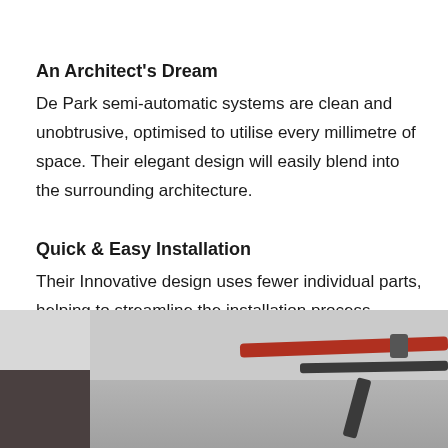An Architect's Dream
De Park semi-automatic systems are clean and unobtrusive, optimised to utilise every millimetre of space. Their elegant design will easily blend into the surrounding architecture.
Quick & Easy Installation
Their Innovative design uses fewer individual parts, helping to streamline the installation process.
[Figure (photo): Photograph of a parking garage ceiling interior showing overhead pipes and mechanical systems. A red pipe and dark grey structural pipes are visible against a light grey ceiling.]